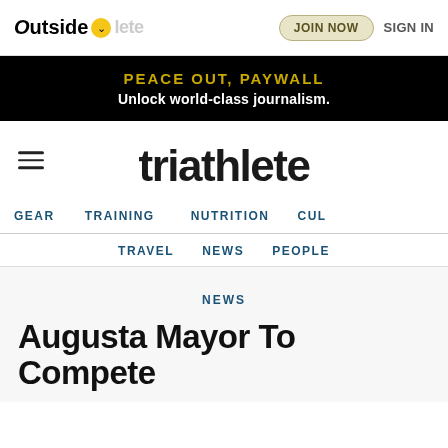Outside [chevron] triathlete | JOIN NOW  SIGN IN
PEACE OUT, PAYWALL
Unlock world-class journalism.
[Figure (logo): triathlete logo in large bold sans-serif font with hamburger menu icon]
GEAR  TRAINING  NUTRITION  CUL
TRAVEL  NEWS  PEOPLE
NEWS
Augusta Mayor To Compete